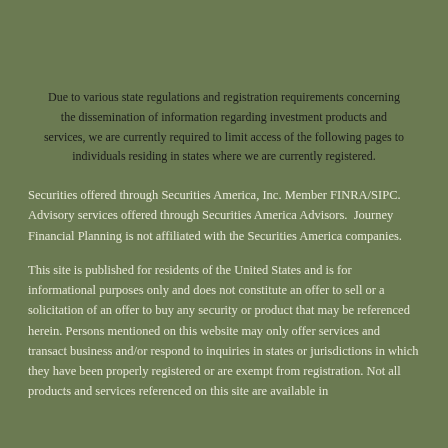Due to various state regulations and registration requirements concerning the dissemination of information regarding investment products and services, we are currently required to limit access of the following pages to individuals residing in states where we are currently registered.
Securities offered through Securities America, Inc. Member FINRA/SIPC. Advisory services offered through Securities America Advisors.  Journey Financial Planning is not affiliated with the Securities America companies.
This site is published for residents of the United States and is for informational purposes only and does not constitute an offer to sell or a solicitation of an offer to buy any security or product that may be referenced herein. Persons mentioned on this website may only offer services and transact business and/or respond to inquiries in states or jurisdictions in which they have been properly registered or are exempt from registration. Not all products and services referenced on this site are available in